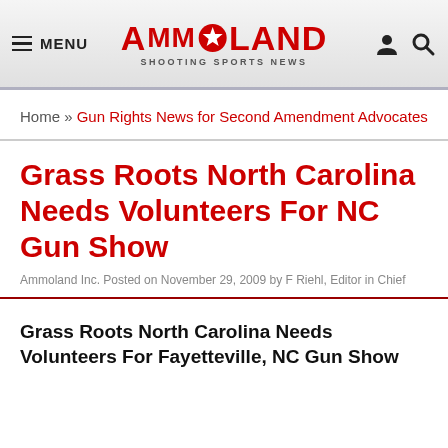MENU | AMMOLAND SHOOTING SPORTS NEWS
Home » Gun Rights News for Second Amendment Advocates
Grass Roots North Carolina Needs Volunteers For NC Gun Show
Ammoland Inc. Posted on November 29, 2009 by F Riehl, Editor in Chief
Grass Roots North Carolina Needs Volunteers For Fayetteville, NC Gun Show